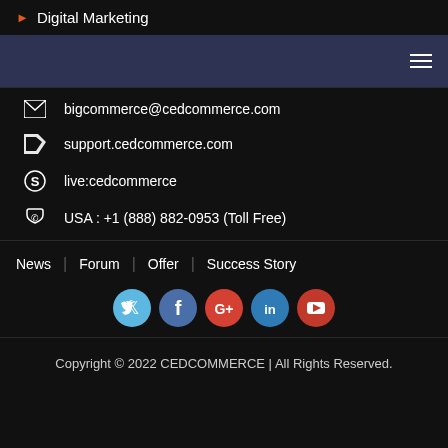Digital Marketing
bigcommerce@cedcommerce.com
support.cedcommerce.com
live:cedcommerce
USA : +1 (888) 882-0953 (Toll Free)
News | Forum | Offer | Success Story
[Figure (other): Social media icons: Twitter, Facebook, Google+, LinkedIn, YouTube]
Copyright © 2022 CEDCOMMERCE | All Rights Reserved.